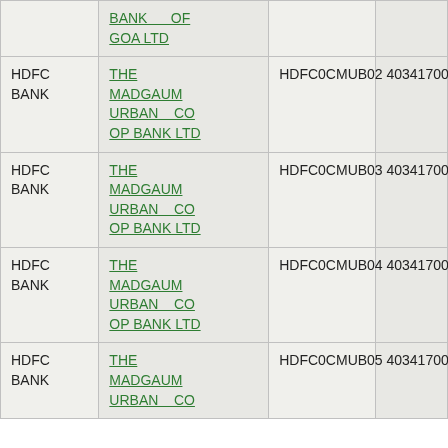| HDFC BANK | BANK OF GOA LTD |  |  |
| HDFC BANK | THE MADGAUM URBAN CO OP BANK LTD | HDFC0CMUB02 | 403417002 |
| HDFC BANK | THE MADGAUM URBAN CO OP BANK LTD | HDFC0CMUB03 | 403417003 |
| HDFC BANK | THE MADGAUM URBAN CO OP BANK LTD | HDFC0CMUB04 | 403417004 |
| HDFC BANK | THE MADGAUM URBAN CO OP BANK LTD | HDFC0CMUB05 | 403417005 |